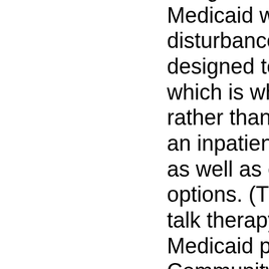designed to serve individuals on Medicaid with severe emotional disturbances (SED). Moreover, it is designed to meet local needs, which is why it is county-based rather than state-based.  It provides an inpatient benefit (hospitalization) as well as community based care options. (The outpatient benefit – talk therapy – is provided by the Medicaid plan as noted earlier.)  Community based care options include services like case management; intensive